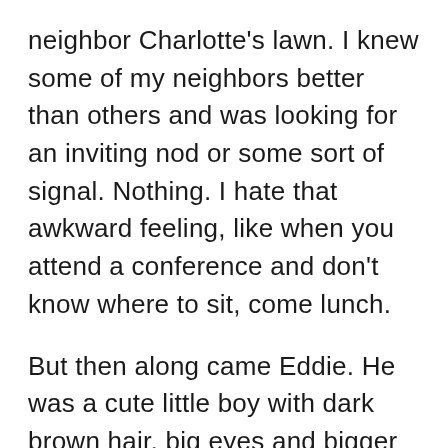neighbor Charlotte's lawn. I knew some of my neighbors better than others and was looking for an inviting nod or some sort of signal. Nothing. I hate that awkward feeling, like when you attend a conference and don't know where to sit, come lunch.
But then along came Eddie. He was a cute little boy with dark brown hair, big eyes and bigger teeth. I can't remember how he started the conversation but we ended up sitting together and talking the entire evening. The kid had an amazing vocabulary and never